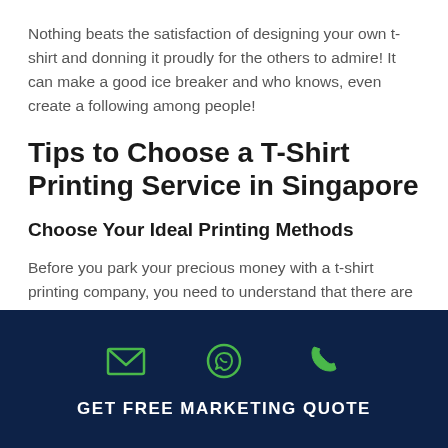Nothing beats the satisfaction of designing your own t-shirt and donning it proudly for the others to admire! It can make a good ice breaker and who knows, even create a following among people!
Tips to Choose a T-Shirt Printing Service in Singapore
Choose Your Ideal Printing Methods
Before you park your precious money with a t-shirt printing company, you need to understand that there are various ways to get your t-shirt printed. Each method has its own pros and cons. You have to choose a technique that best suits
GET FREE MARKETING QUOTE